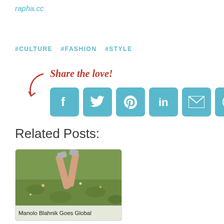rapha.cc
#CULTURE   #FASHION   #STYLE
Share the love!
[Figure (infographic): Social sharing buttons: Facebook, Twitter, Pinterest, LinkedIn, Email, Other. Red curved arrow pointing to the buttons.]
Related Posts:
[Figure (photo): Photo of legs raised in the air wearing high heels in a flower field, with caption 'Manolo Blahnik Goes Global']